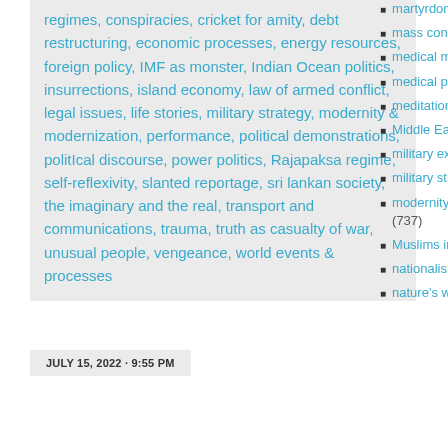regimes, conspiracies, cricket for amity, debt restructuring, economic processes, energy resources, foreign policy, IMF as monster, Indian Ocean politics, insurrections, island economy, law of armed conflict, legal issues, life stories, military strategy, modernity & modernization, performance, political demonstrations, politIcal discourse, power politics, Rajapaksa regime, self-reflexivity, slanted reportage, sri lankan society, the imaginary and the real, transport and communications, trauma, truth as casualty of war, unusual people, vengeance, world events & processes
JULY 15, 2022 · 9:55 PM
martyrdom (193)
mass conscription (39)
medical marvels (41)
medical puzzles (29)
meditations (359)
Middle Eastern Politics (40)
military expenditure (68)
military strategy (664)
modernity & modernization (737)
Muslims in Lanka (172)
nationalism (440)
nature's wonders